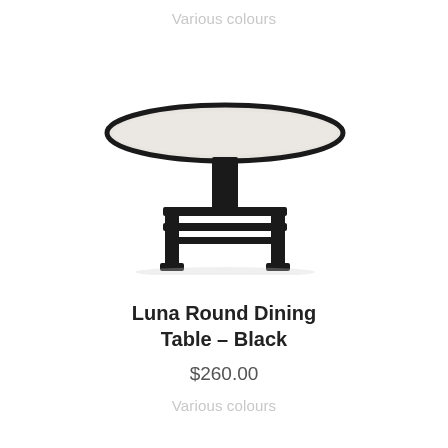Various colours
[Figure (photo): A round dining table with a light marble-look top and dark black metal frame/legs, viewed from a slight angle.]
Luna Round Dining Table – Black
$260.00
Various colours